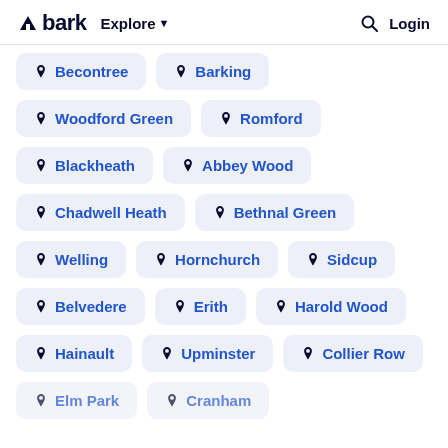bark  Explore  Login
Becontree
Barking
Woodford Green
Romford
Blackheath
Abbey Wood
Chadwell Heath
Bethnal Green
Welling
Hornchurch
Sidcup
Belvedere
Erith
Harold Wood
Hainault
Upminster
Collier Row
Elm Park
Cranham